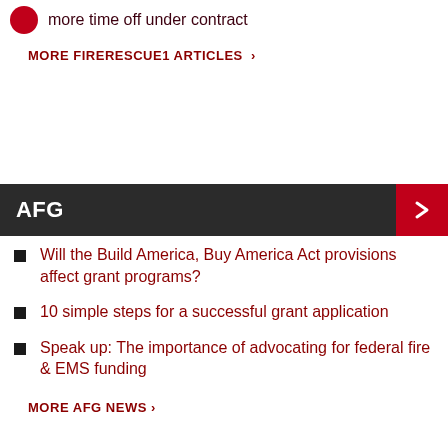more time off under contract
MORE FIRERESCUE1 ARTICLES >
AFG
Will the Build America, Buy America Act provisions affect grant programs?
10 simple steps for a successful grant application
Speak up: The importance of advocating for federal fire & EMS funding
MORE AFG NEWS >